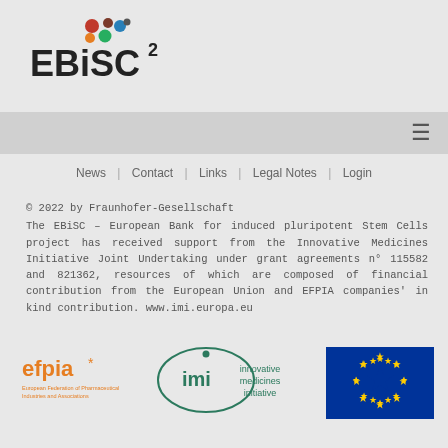[Figure (logo): EBiSC2 logo with colored dots above text]
[Figure (other): Navigation bar with hamburger menu icon]
News | Contact | Links | Legal Notes | Login
© 2022 by Fraunhofer-Gesellschaft
The EBiSC – European Bank for induced pluripotent Stem Cells project has received support from the Innovative Medicines Initiative Joint Undertaking under grant agreements n° 115582 and 821362, resources of which are composed of financial contribution from the European Union and EFPIA companies' in kind contribution. www.imi.europa.eu
[Figure (logo): EFPIA logo - European Federation of Pharmaceutical Industries and Associations]
[Figure (logo): IMI - Innovative Medicines Initiative logo]
[Figure (logo): European Union flag]